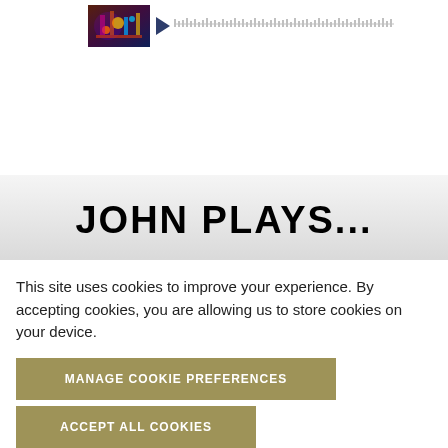[Figure (screenshot): Media player thumbnail with colorful concert image and audio progress bar with play button]
JOHN PLAYS...
This site uses cookies to improve your experience. By accepting cookies, you are allowing us to store cookies on your device.
MANAGE COOKIE PREFERENCES
ACCEPT ALL COOKIES